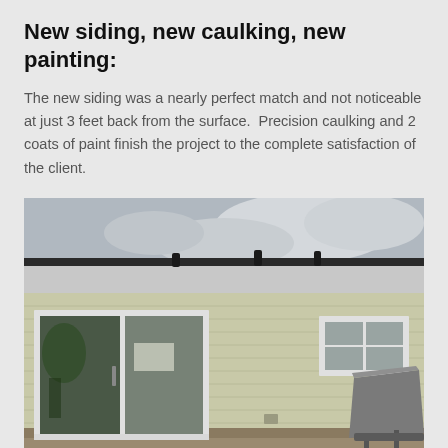New siding, new caulking, new painting:
The new siding was a nearly perfect match and not noticeable at just 3 feet back from the surface.  Precision caulking and 2 coats of paint finish the project to the complete satisfaction of the client.
[Figure (photo): Exterior photo of a house with new light green/tan horizontal siding, white-framed sliding glass door on the left, a smaller window on the upper right, a covered grill on the right side, roofline with dark edging visible at top, overcast sky in background.]